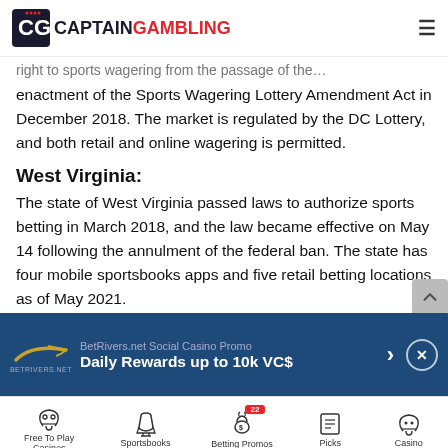CaptainGambling
enactment of the Sports Wagering Lottery Amendment Act in December 2018. The market is regulated by the DC Lottery, and both retail and online wagering is permitted.
West Virginia:
The state of West Virginia passed laws to authorize sports betting in March 2018, and the law became effective on May 14 following the annulment of the federal ban. The state has four mobile sportsbooks apps and five retail betting locations as of May 2021.
New Hampshire:
[Figure (advertisement): BetRivers.net Social Casino Promo banner — Daily Rewards up to 10k VC$]
Free To Play Casinos | Sportsbooks | Betting Promos (22) | Picks | Casino